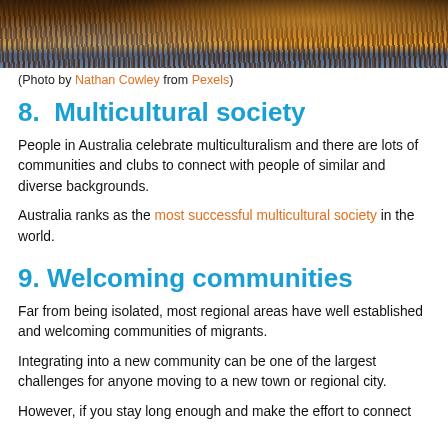[Figure (photo): Sunset landscape photo showing tall grasses/reeds in the foreground with warm orange and golden sky light behind them]
(Photo by Nathan Cowley from Pexels)
8.  Multicultural society
People in Australia celebrate multiculturalism and there are lots of communities and clubs to connect with people of similar and diverse backgrounds.
Australia ranks as the most successful multicultural society in the world.
9. Welcoming communities
Far from being isolated, most regional areas have well established and welcoming communities of migrants.
Integrating into a new community can be one of the largest challenges for anyone moving to a new town or regional city.
However, if you stay long enough and make the effort to connect